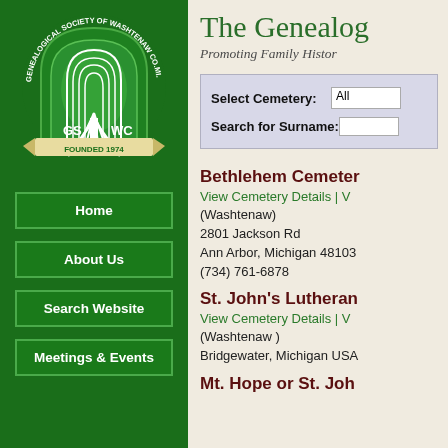[Figure (logo): Genealogical Society of Washtenaw County Michigan shield logo with weeping willow tree, text 'GENEALOGICAL SOCIETY OF WASHTENAW CO.MI.', 'GS WC', 'FOUNDED 1974']
Home
About Us
Search Website
Meetings & Events
The Genealog...
Promoting Family Histor...
Select Cemetery: All
Search for Surname:
Bethlehem Cemeter...
View Cemetery Details | V...
(Washtenaw)
2801 Jackson Rd
Ann Arbor, Michigan 48103...
(734) 761-6878
St. John's Lutheran...
View Cemetery Details | V...
(Washtenaw )
Bridgewater, Michigan USA...
Mt. Hope or St. Joh...